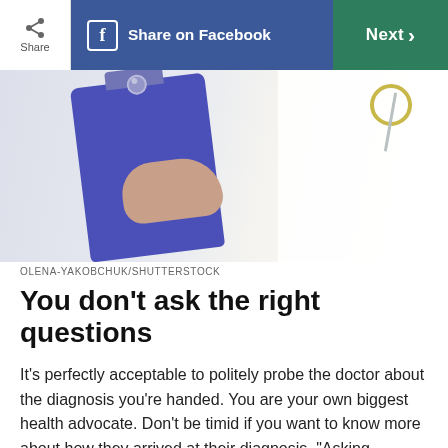[Figure (photo): A person in a white doctor's coat holding a blue clipboard, with a stethoscope visible]
OLENA-YAKOBCHUK/SHUTTERSTOCK
You don’t ask the right questions
It’s perfectly acceptable to politely probe the doctor about the diagnosis you’re handed. You are your own biggest health advocate. Don't be timid if you want to know more about how they arrived at their diagnosis. “Asking questions means something more than just asking questions in a general sense; be a bit intentionally skeptical,” says